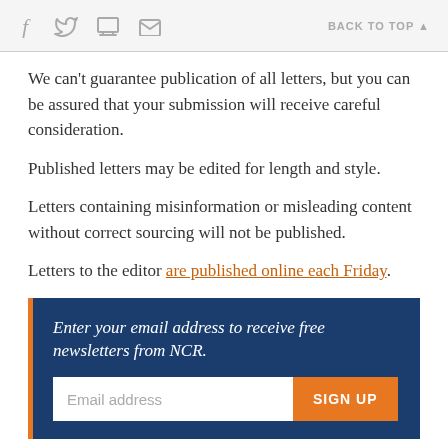f [twitter] [print] [email]   BACK TO TOP
We can't guarantee publication of all letters, but you can be assured that your submission will receive careful consideration.
Published letters may be edited for length and style.
Letters containing misinformation or misleading content without correct sourcing will not be published.
Letters to the editor are published online each Friday.
Enter your email address to receive free newsletters from NCR.